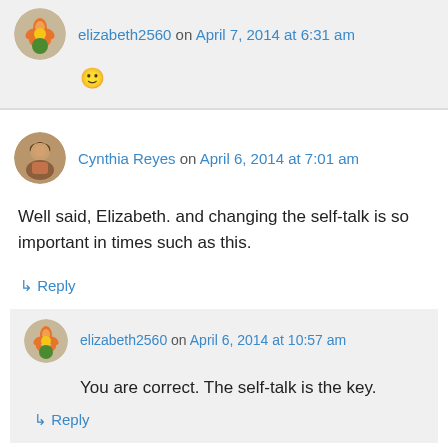elizabeth2560 on April 7, 2014 at 6:31 am
🙂
Cynthia Reyes on April 6, 2014 at 7:01 am
Well said, Elizabeth. and changing the self-talk is so important in times such as this.
↪ Reply
elizabeth2560 on April 6, 2014 at 10:57 am
You are correct. The self-talk is the key.
↪ Reply